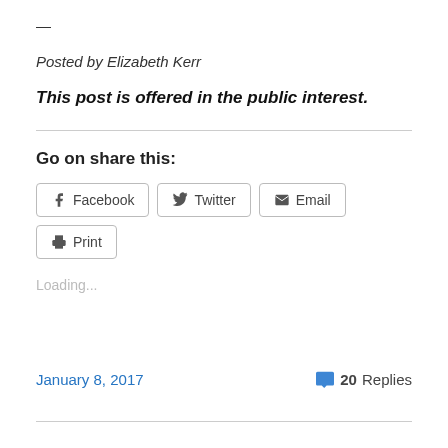—
Posted by Elizabeth Kerr
This post is offered in the public interest.
Go on share this:
[Figure (other): Social share buttons: Facebook, Twitter, Email, Print]
Loading...
January 8, 2017
20 Replies